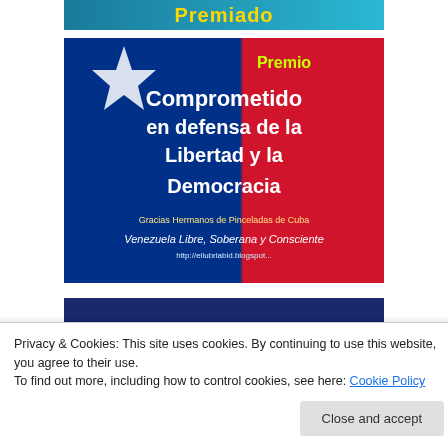[Figure (photo): Partial top image showing 'Premiado' text on a banner with blue/teal background, cropped at top]
[Figure (photo): Premio Comprometido en defensa de la Libertad y la Democracia – award badge with Venezuelan flag colors, text: Premio, Comprometido en defensa de la Libertad y la Democracia, Gracias Hermanos de Pinceladas de Cuba, Venezuela Libre, Soberana y Consciente, http://eliubriabid.blogspot...]
[Figure (photo): 11 de Abril – Pinceladas de Cuba – Blog Premiado banner on dark blue background with golden pen]
Privacy & Cookies: This site uses cookies. By continuing to use this website, you agree to their use.
To find out more, including how to control cookies, see here: Cookie Policy
Close and accept